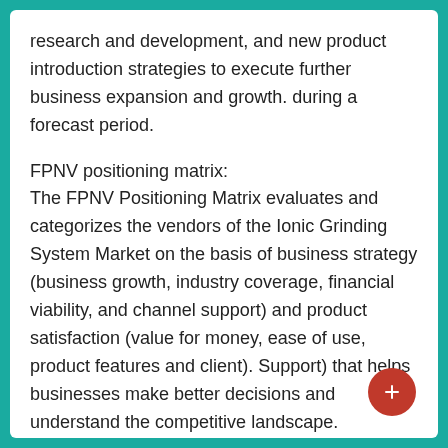research and development, and new product introduction strategies to execute further business expansion and growth. during a forecast period.
FPNV positioning matrix:
The FPNV Positioning Matrix evaluates and categorizes the vendors of the Ionic Grinding System Market on the basis of business strategy (business growth, industry coverage, financial viability, and channel support) and product satisfaction (value for money, ease of use, product features and client). Support) that helps businesses make better decisions and understand the competitive landscape.
Market share analysis:
The market share analysis offers the analysis of